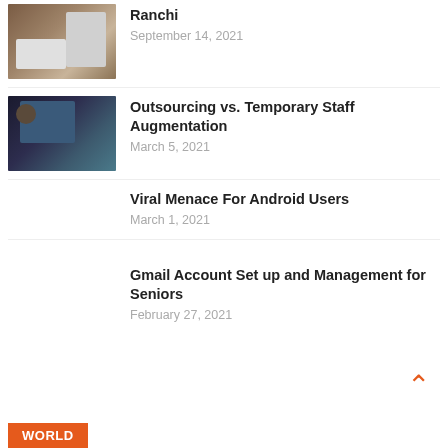[Figure (photo): Laptop and tablet on a wooden desk]
Ranchi
September 14, 2021
[Figure (photo): Person wearing headphones working at a desktop computer]
Outsourcing vs. Temporary Staff Augmentation
March 5, 2021
Viral Menace For Android Users
March 1, 2021
Gmail Account Set up and Management for Seniors
February 27, 2021
WORLD